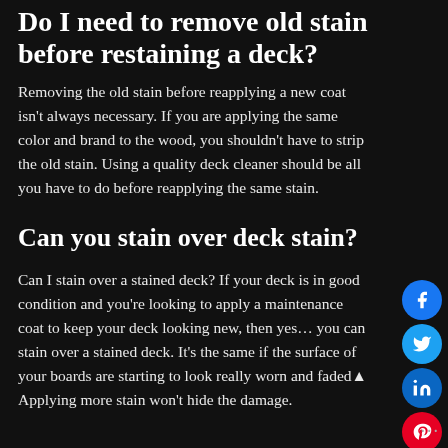Do I need to remove old stain before restaining a deck?
Removing the old stain before reapplying a new coat isn't always necessary. If you are applying the same color and brand to the wood, you shouldn't have to strip the old stain. Using a quality deck cleaner should be all you have to do before reapplying the same stain.
Can you stain over deck stain?
Can I stain over a stained deck? If your deck is in good condition and you're looking to apply a maintenance coat to keep your deck looking new, then yes… you can stain over a stained deck. It's the same if the surface of your boards are starting to look really worn and faded▲ Applying more stain won't hide the damage.